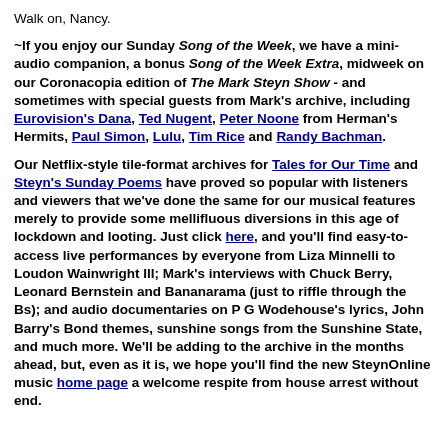Walk on, Nancy.
~If you enjoy our Sunday Song of the Week, we have a mini-audio companion, a bonus Song of the Week Extra, midweek on our Coronacopia edition of The Mark Steyn Show - and sometimes with special guests from Mark's archive, including Eurovision's Dana, Ted Nugent, Peter Noone from Herman's Hermits, Paul Simon, Lulu, Tim Rice and Randy Bachman.
Our Netflix-style tile-format archives for Tales for Our Time and Steyn's Sunday Poems have proved so popular with listeners and viewers that we've done the same for our musical features merely to provide some mellifluous diversions in this age of lockdown and looting. Just click here, and you'll find easy-to-access live performances by everyone from Liza Minnelli to Loudon Wainwright III; Mark's interviews with Chuck Berry, Leonard Bernstein and Bananarama (just to riffle through the Bs); and audio documentaries on P G Wodehouse's lyrics, John Barry's Bond themes, sunshine songs from the Sunshine State, and much more. We'll be adding to the archive in the months ahead, but, even as it is, we hope you'll find the new SteynOnline music home page a welcome respite from house arrest without end.